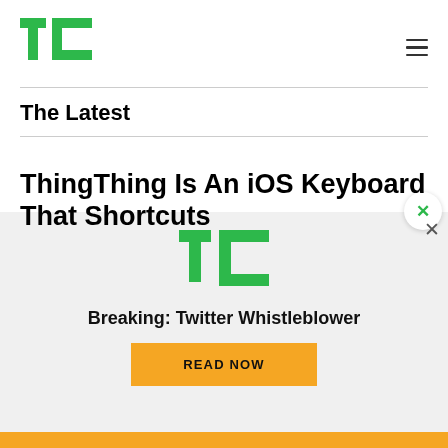[Figure (logo): TechCrunch TC logo in green, top left]
The Latest
ThingThing Is An iOS Keyboard That Shortcuts
[Figure (logo): TechCrunch TC logo in green, inside advertisement overlay]
Breaking: Twitter Whistleblower
READ NOW